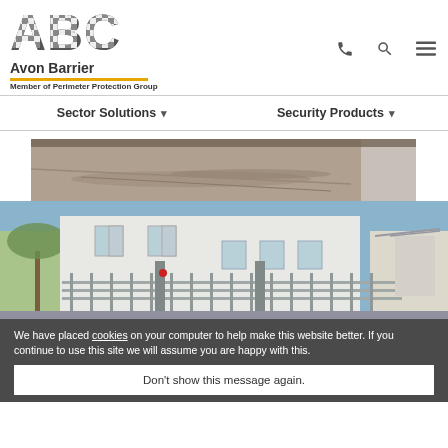[Figure (logo): ABC Avon Barrier logo with checkered A, B, C letters in dark grey]
Avon Barrier
Member of Perimeter Protection Group
Sector Solutions  ▾
Security Products  ▾
[Figure (photo): Top partial photo of a paved security barrier area, driveway with barrier gate against a wall]
[Figure (photo): Photo of a white government or embassy building facade with metal security railings and blue sky]
We have placed cookies on your computer to help make this website better. If you continue to use this site we will assume you are happy with this.
Don't show this message again.